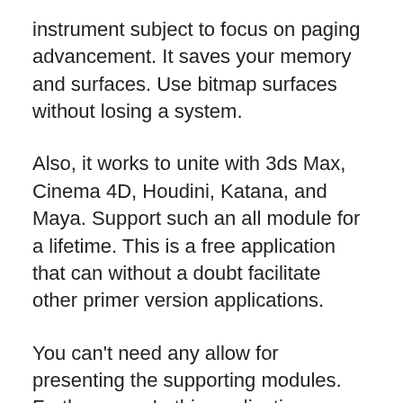instrument subject to focus on paging advancement. It saves your memory and surfaces. Use bitmap surfaces without losing a system.
Also, it works to unite with 3ds Max, Cinema 4D, Houdini, Katana, and Maya. Support such an all module for a lifetime. This is a free application that can without a doubt facilitate other primer version applications.
You can't need any allow for presenting the supporting modules. Furthermore, In this application, use diverse 2D and 3D programming for better to better results and openings.
Also, Super and Supreme result successfully achievements disseminated among the customers to accomplish an additionally appealing result. In like manner, you use it break structure with the desire for complimentary working with no specific or physical issue.